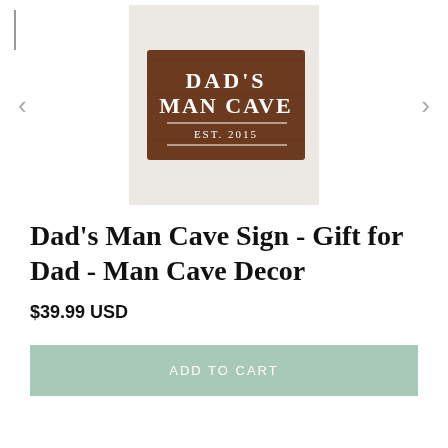[Figure (photo): A wooden 'Dad's Man Cave Est. 2015' sign displayed on a white knit blanket with a rustic wooden background. The sign is dark brown with white lettering.]
Dad's Man Cave Sign - Gift for Dad - Man Cave Decor
$39.99 USD
ADD TO CART